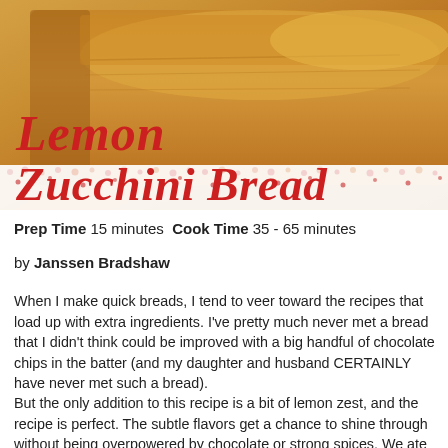[Figure (photo): Close-up photo of a golden-brown loaf of zucchini bread on a white lace cloth, with the text 'Lemon Zucchini Bread' overlaid in large red italic letters]
Prep Time 15 minutes  Cook Time 35 - 65 minutes
by Janssen Bradshaw
When I make quick breads, I tend to veer toward the recipes that load up with extra ingredients. I've pretty much never met a bread that I didn't think could be improved with a big handful of chocolate chips in the batter (and my daughter and husband CERTAINLY have never met such a bread).
But the only addition to this recipe is a bit of lemon zest, and the recipe is perfect. The subtle flavors get a chance to shine through without being overpowered by chocolate or strong spices. We ate our